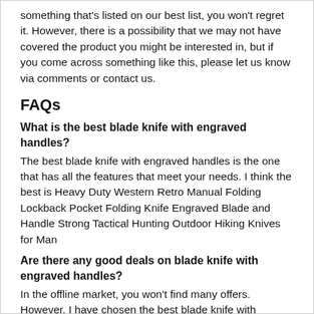something that's listed on our best list, you won't regret it. However, there is a possibility that we may not have covered the product you might be interested in, but if you come across something like this, please let us know via comments or contact us.
FAQs
What is the best blade knife with engraved handles?
The best blade knife with engraved handles is the one that has all the features that meet your needs. I think the best is Heavy Duty Western Retro Manual Folding Lockback Pocket Folding Knife Engraved Blade and Handle Strong Tactical Hunting Outdoor Hiking Knives for Man
Are there any good deals on blade knife with engraved handles?
In the offline market, you won't find many offers. However, I have chosen the best blade knife with engraved handles